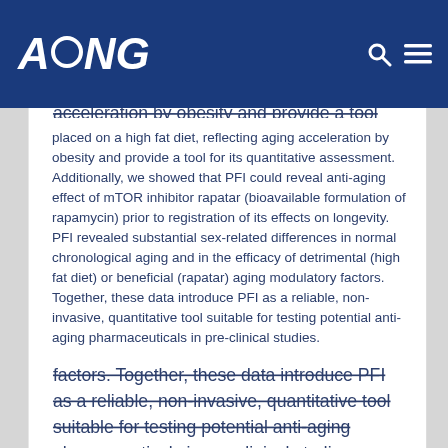AGING
placed on a high fat diet, reflecting aging acceleration by obesity and provide a tool for its quantitative assessment. Additionally, we showed that PFI could reveal anti-aging effect of mTOR inhibitor rapatar (bioavailable formulation of rapamycin) prior to registration of its effects on longevity. PFI revealed substantial sex-related differences in normal chronological aging and in the efficacy of detrimental (high fat diet) or beneficial (rapatar) aging modulatory factors. Together, these data introduce PFI as a reliable, non-invasive, quantitative tool suitable for testing potential anti-aging pharmaceuticals in pre-clinical studies.